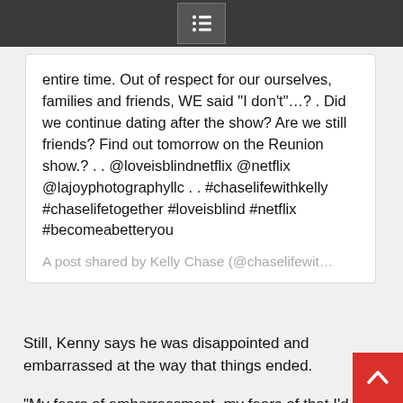menu icon / navigation bar
entire time. Out of respect for our ourselves, families and friends, WE said “I don’t”…? . Did we continue dating after the show? Are we still friends? Find out tomorrow on the Reunion show.? . . @loveisblindnetflix @netflix @lajoyphotographyllc . . #chaselifewithkelly #chaselifetogether #loveisblind #netflix #becomeabetteryou
A post shared by Kelly Chase (@chaselifewit…
Still, Kenny says he was disappointed and embarrassed at the way that things ended.
“My fears of embarrassment, my fears of that I’d stressed or disappointed someone – almost embarrassment like I’d brought people into something that I was clearly frustrated with,” he